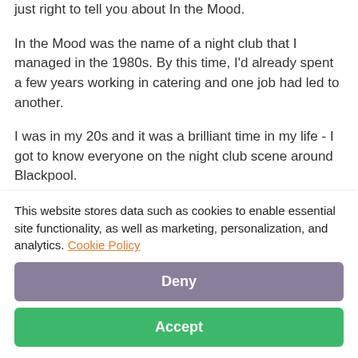just right to tell you about In the Mood.
In the Mood was the name of a night club that I managed in the 1980s. By this time, I'd already spent a few years working in catering and one job had led to another.
I was in my 20s and it was a brilliant time in my life - I got to know everyone on the night club scene around Blackpool.
This website stores data such as cookies to enable essential site functionality, as well as marketing, personalization, and analytics. Cookie Policy
Deny
Accept